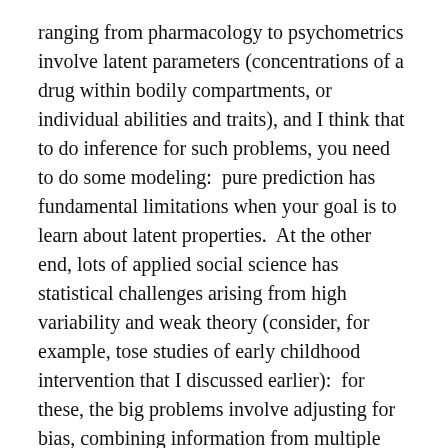ranging from pharmacology to psychometrics involve latent parameters (concentrations of a drug within bodily compartments, or individual abilities and traits), and I think that to do inference for such problems, you need to do some modeling:  pure prediction has fundamental limitations when your goal is to learn about latent properties.  At the other end, lots of applied social science has statistical challenges arising from high variability and weak theory (consider, for example, tose studies of early childhood intervention that I discussed earlier):  for these, the big problems involve adjusting for bias, combining information from multiple sources, and handling uncertainty, which are core problems of statistics.
You ask whether statisticians should move toward algorithmic approaches.  I'd say that statistics has